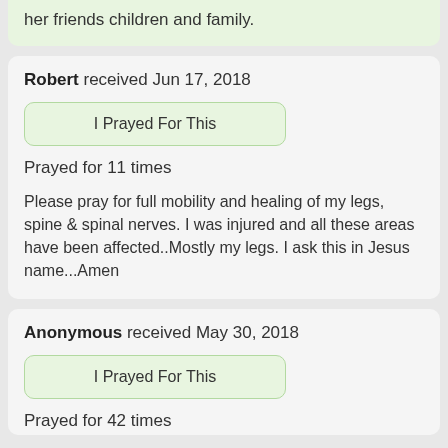her friends children and family.
Robert received Jun 17, 2018
I Prayed For This
Prayed for 11 times
Please pray for full mobility and healing of my legs, spine & spinal nerves. I was injured and all these areas have been affected..Mostly my legs. I ask this in Jesus name...Amen
Anonymous received May 30, 2018
I Prayed For This
Prayed for 42 times